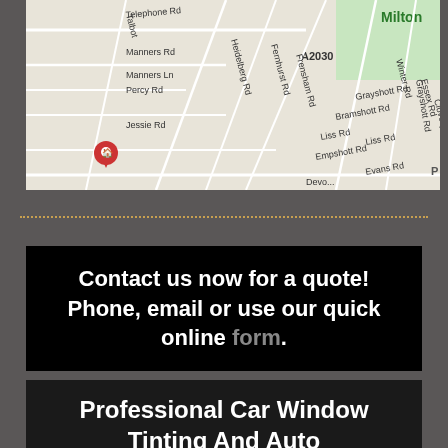[Figure (map): Google Maps screenshot showing street map with road names including Telephone Rd, Manners Rd, Manners Ln, Percy Rd, Jessie Rd, Grayshott Rd, Bramshott Rd, Liss Rd, Empshott Rd, Evans Rd, Heidelberg Rd, Fernhurst Rd, Frensham Rd, Winter Rd, Essex Rd, Clovelly Rd, A2030, Milton label with green area, and a red map pin marker on the left side.]
Contact us now for a quote! Phone, email or use our quick online form.
Professional Car Window Tinting And Auto